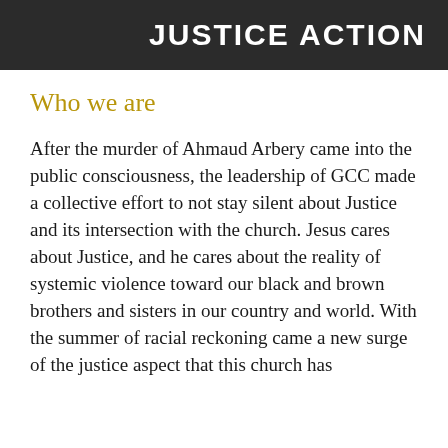JUSTICE ACTION
Who we are
After the murder of Ahmaud Arbery came into the public consciousness, the leadership of GCC made a collective effort to not stay silent about Justice and its intersection with the church. Jesus cares about Justice, and he cares about the reality of systemic violence toward our black and brown brothers and sisters in our country and world. With the summer of racial reckoning came a new surge of the justice aspect that this church has